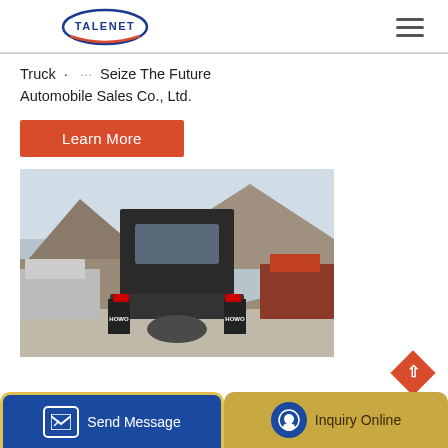[Figure (logo): Talenet logo - oval with TALENET text in blue and red swoosh]
Truck ... Qao Seize The Future Automobile Sales Co., Ltd.
[Figure (other): Learn More orange button]
[Figure (photo): Rear view of a HOWO heavy truck in a yard with mountains in the background and multiple trucks parked around]
[Figure (other): Send Message and Inquiry Online bottom navigation bar with scroll-to-top diamond button]